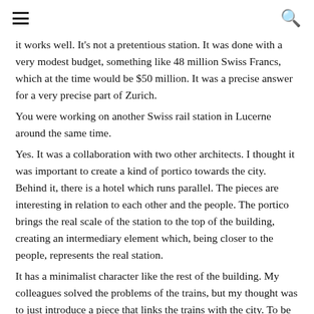≡  🔍
it works well. It's not a pretentious station. It was done with a very modest budget, something like 48 million Swiss Francs, which at the time would be $50 million. It was a precise answer for a very precise part of Zurich.
You were working on another Swiss rail station in Lucerne around the same time.
Yes. It was a collaboration with two other architects. I thought it was important to create a kind of portico towards the city. Behind it, there is a hotel which runs parallel. The pieces are interesting in relation to each other and the people. The portico brings the real scale of the station to the top of the building, creating an intermediary element which, being closer to the people, represents the real station.
It has a minimalist character like the rest of the building. My colleagues solved the problems of the trains, but my thought was to just introduce a piece that links the trains with the city. To be